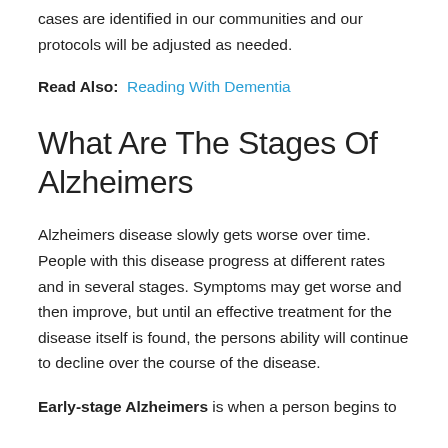cases are identified in our communities and our protocols will be adjusted as needed.
Read Also:  Reading With Dementia
What Are The Stages Of Alzheimers
Alzheimers disease slowly gets worse over time. People with this disease progress at different rates and in several stages. Symptoms may get worse and then improve, but until an effective treatment for the disease itself is found, the persons ability will continue to decline over the course of the disease.
Early-stage Alzheimers is when a person begins to